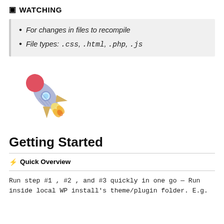⚡ WATCHING
For changes in files to recompile
File types: .css, .html, .php, .js
[Figure (illustration): Cartoon rocket emoji illustration, launching diagonally to upper-right, with red nose cone, light purple/grey body, yellow fins and flame exhaust, and a blue porthole window]
Getting Started
⚡ Quick Overview
Run step #1, #2, and #3 quickly in one go — Run inside local WP install's theme/plugin folder. E.g.